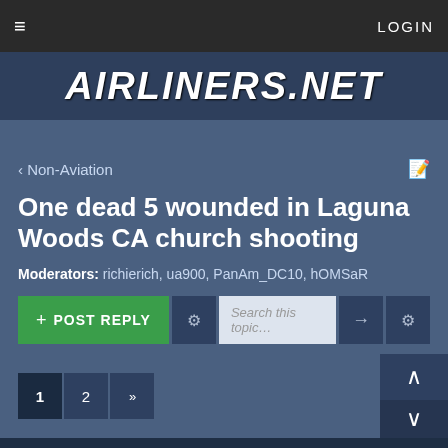≡   LOGIN
AIRLINERS.NET
< Non-Aviation
One dead 5 wounded in Laguna Woods CA church shooting
Moderators: richierich, ua900, PanAm_DC10, hOMSaR
+ POST REPLY   Search this topic...
1  2  »
Kent350787